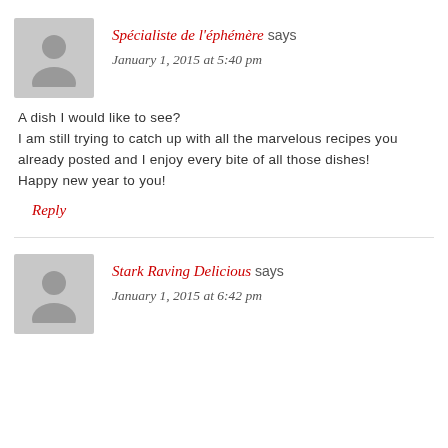Spécialiste de l'éphémère says
January 1, 2015 at 5:40 pm
A dish I would like to see?
I am still trying to catch up with all the marvelous recipes you already posted and I enjoy every bite of all those dishes!
Happy new year to you!
Reply
Stark Raving Delicious says
January 1, 2015 at 6:42 pm